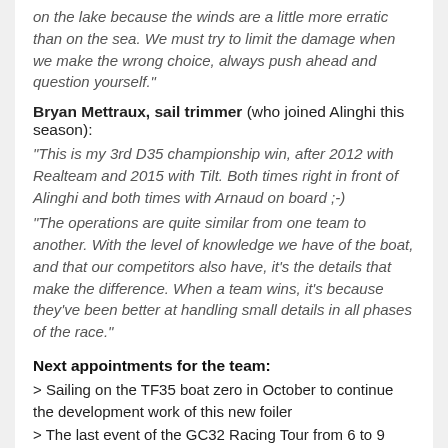on the lake because the winds are a little more erratic than on the sea. We must try to limit the damage when we make the wrong choice, always push ahead and question yourself.
Bryan Mettraux, sail trimmer (who joined Alinghi this season):
"This is my 3rd D35 championship win, after 2012 with Realteam and 2015 with Tilt. Both times right in front of Alinghi and both times with Arnaud on board ;-)
"The operations are quite similar from one team to another. With the level of knowledge we have of the boat, and that our competitors also have, it's the details that make the difference. When a team wins, it's because they've been better at handling small details in all phases of the race.
Next appointments for the team:
> Sailing on the TF35 boat zero in October to continue the development work of this new foiler
> The last event of the GC32 Racing Tour from 6 to 9 November in Oman where the championship title is at stake!